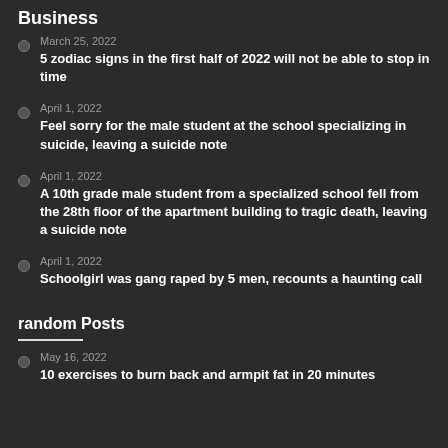Business
March 25, 2022
5 zodiac signs in the first half of 2022 will not be able to stop in time
April 1, 2022
Feel sorry for the male student at the school specializing in suicide, leaving a suicide note
April 1, 2022
A 10th grade male student from a specialized school fell from the 28th floor of the apartment building to tragic death, leaving a suicide note
April 1, 2022
Schoolgirl was gang raped by 5 men, recounts a haunting call
random Posts
May 16, 2022
10 exercises to burn back and armpit fat in 20 minutes